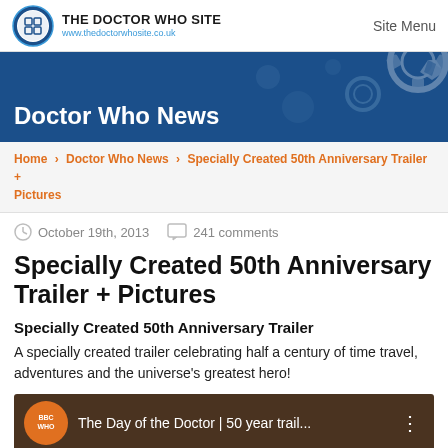THE DOCTOR WHO SITE www.thedoctorwhosite.co.uk | Site Menu
[Figure (illustration): Doctor Who site logo circle icon with TARDIS window grid pattern, blue circular logo]
[Figure (illustration): Blue banner with 'Doctor Who News' title and decorative gear/cog patterns in background]
Home > Doctor Who News > Specially Created 50th Anniversary Trailer + Pictures
October 19th, 2013   241 comments
Specially Created 50th Anniversary Trailer + Pictures
Specially Created 50th Anniversary Trailer
A specially created trailer celebrating half a century of time travel, adventures and the universe's greatest hero!
[Figure (screenshot): YouTube video thumbnail for 'The Day of the Doctor | 50 year trail...' with BBC WHO logo orange badge on dark brown background]